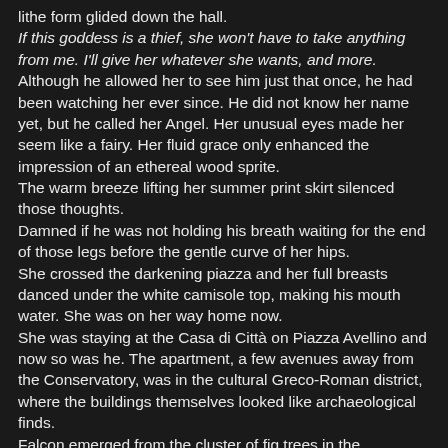lithe form glided down the hall. If this goddess is a thief, she won't have to take anything from me. I'll give her whatever she wants, and more. Although he allowed her to see him just that once, he had been watching her ever since. He did not know her name yet, but he called her Angel. Her unusual eyes made her seem like a fairy. Her fluid grace only enhanced the impression of an ethereal wood sprite. The warm breeze lifting her summer print skirt silenced those thoughts. Damned if he was not holding his breath waiting for the end of those legs before the gentle curve of her hips. She crossed the darkening piazza and her full breasts danced under the white camisole top, making his mouth water. She was on her way home now. She was staying at the Casa di Città on Piazza Avellino and now so was he. The apartment, a few avenues away from the Conservatory, was in the cultural Greco-Roman district, where the buildings themselves looked like archaeological finds. Falcon emerged from the cluster of fig trees in the courtyard. He stopped when a man exited a side door off the